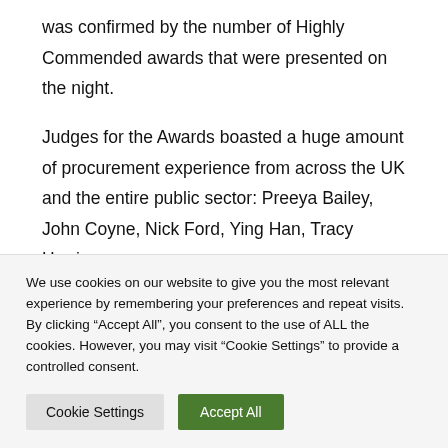was confirmed by the number of Highly Commended awards that were presented on the night.
Judges for the Awards boasted a huge amount of procurement experience from across the UK and the entire public sector: Preeya Bailey, John Coyne, Nick Ford, Ying Han, Tracy Harrison,
We use cookies on our website to give you the most relevant experience by remembering your preferences and repeat visits. By clicking “Accept All”, you consent to the use of ALL the cookies. However, you may visit "Cookie Settings" to provide a controlled consent.